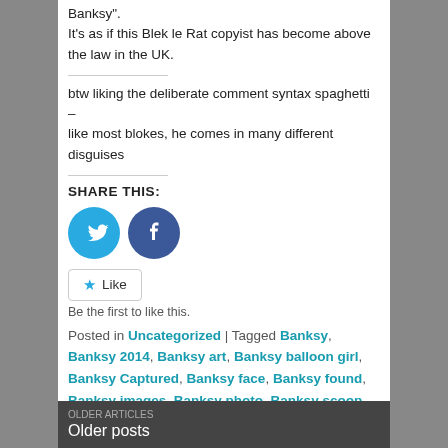Banksy". It’s as if this Blek le Rat copyist has become above the law in the UK.
btw liking the deliberate comment syntax spaghetti – like most blokes, he comes in many different disguises
SHARE THIS:
[Figure (other): Twitter and Facebook share buttons (circular icons)]
Like
Be the first to like this.
Posted in Uncategorized | Tagged Banksy, Banksy 2014, Banksy art, Banksy balloon girl, Banksy Captured, Banksy face, Banksy found, Banksy images, Banksy photo, Banksy scoop, Banksy sotherbys, Banksy unmasked, Dada | 17 Replies
Older posts